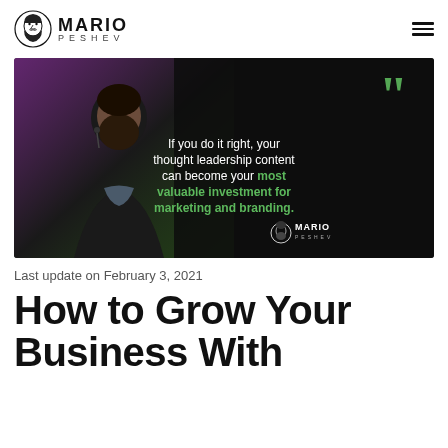MARIO PESHEV
[Figure (photo): Bearded man speaking at an event with a quote overlay: 'If you do it right, your thought leadership content can become your most valuable investment for marketing and branding.' with Mario Peshev logo]
Last update on February 3, 2021
How to Grow Your Business With